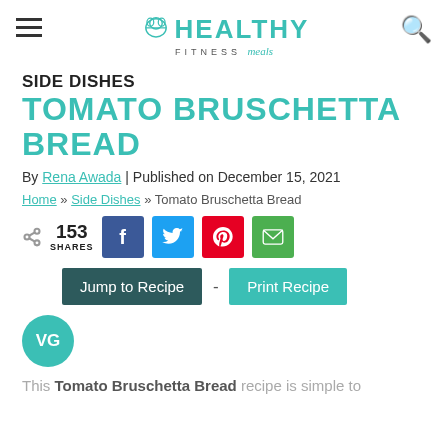Healthy Fitness Meals
SIDE DISHES
TOMATO BRUSCHETTA BREAD
By Rena Awada | Published on December 15, 2021
Home » Side Dishes » Tomato Bruschetta Bread
153 SHARES
Jump to Recipe - Print Recipe
[Figure (other): VG badge circle]
This Tomato Bruschetta Bread recipe is simple to